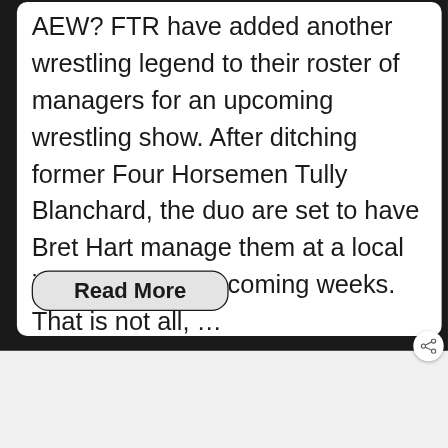AEW? FTR have added another wrestling legend to their roster of managers for an upcoming wrestling show. After ditching former Four Horsemen Tully Blanchard, the duo are set to have Bret Hart manage them at a local indie show in the coming weeks. That is not all, …
Read More